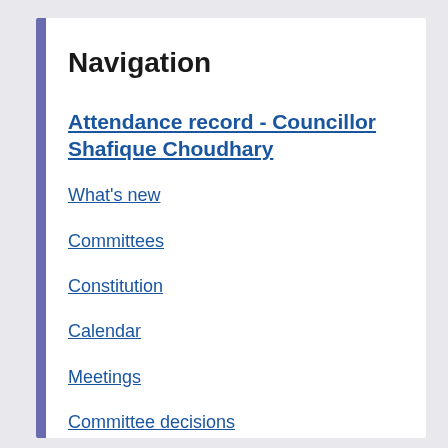Navigation
Attendance record - Councillor Shafique Choudhary
What's new
Committees
Constitution
Calendar
Meetings
Committee decisions